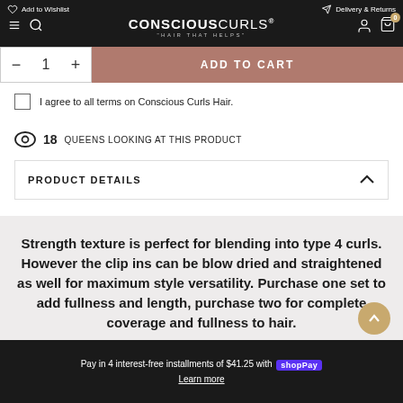CONSCIOUSCURLS® "HAIR THAT HELPS"
Add to Wishlist   Delivery & Returns
ADD TO CART
I agree to all terms on Conscious Curls Hair.
18 QUEENS LOOKING AT THIS PRODUCT
PRODUCT DETAILS
Strength texture is perfect for blending into type 4 curls. However the clip ins can be blow dried and straightened as well for maximum style versatility. Purchase one set to add fullness and length, purchase two for complete coverage and fullness to hair.
Pay in 4 interest-free installments of $41.25 with shopPay Learn more